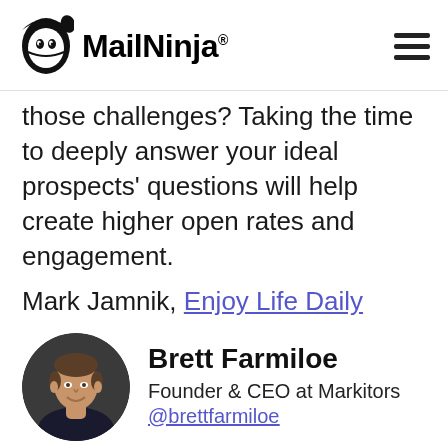MailNinja®
those challenges? Taking the time to deeply answer your ideal prospects' questions will help create higher open rates and engagement.
Mark Jamnik, Enjoy Life Daily
[Figure (photo): Circular headshot photo of Brett Farmiloe, a man in a dark jacket smiling against a dark background]
Brett Farmiloe
Founder & CEO at Markitors
@brettfarmiloe